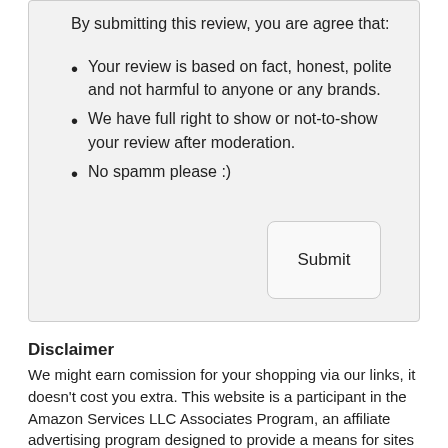By submitting this review, you are agree that:
Your review is based on fact, honest, polite and not harmful to anyone or any brands.
We have full right to show or not-to-show your review after moderation.
No spamm please :)
[Figure (other): Submit button with rounded rectangle border]
Disclaimer
We might earn comission for your shopping via our links, it doesn't cost you extra. This website is a participant in the Amazon Services LLC Associates Program, an affiliate advertising program designed to provide a means for sites to earn advertising fees by